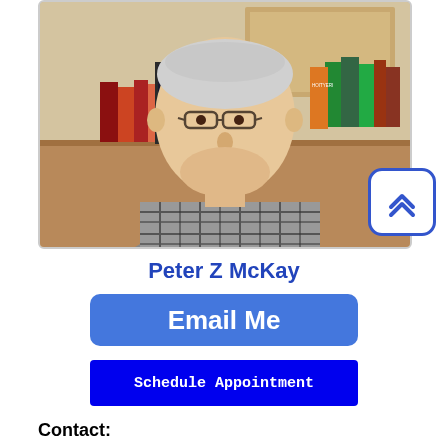[Figure (photo): Portrait photo of Peter Z McKay, an older man with white/grey hair and glasses, wearing a plaid shirt, seated in front of a bookshelf with books including 'The Snowball: Warren Buffett and the Business of Life' visible.]
Peter Z McKay
Email Me
Schedule Appointment
Contact: